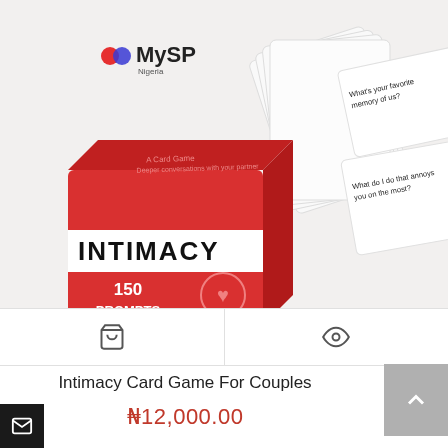[Figure (photo): Product photo of Intimacy Card Game For Couples — a red box labeled 'INTIMACY 150 PROMPTS' with white prompt cards fanned out behind it. MySP Nigeria logo visible in upper left of the image.]
🛒 (cart icon) | 👁 (eye/view icon)
Intimacy Card Game For Couples
₦12,000.00